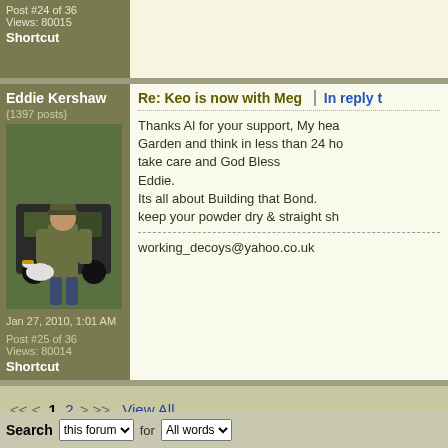Post #24 of 36
Views: 80015
Shortcut
Eddie Kershaw
{1397 posts}
[Figure (photo): Photo of a man in camouflage jacket standing next to a vehicle holding a large bird/goose decoy]
Jan 27, 2010, 1:01 AM
Post #25 of 36
Views: 80014
Shortcut
Re: Keo is now with Meg
In reply t
Thanks Al for your support, My hea Garden and think in less than 24 ho take care and God Bless Eddie. Its all about Building that Bond. keep your powder dry & straight sh
working_decoys@yahoo.co.uk
<< < 1 2 > >> View All
Search this forum for All words